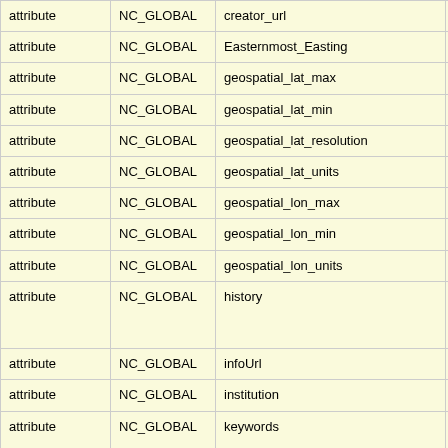|  | NC_GLOBAL |  | Type | Value |
| --- | --- | --- | --- | --- |
| attribute | NC_GLOBAL | creator_url | String | https://o... |
| attribute | NC_GLOBAL | Easternmost_Easting | double | 359.979... |
| attribute | NC_GLOBAL | geospatial_lat_max | double | 89.9791... |
| attribute | NC_GLOBAL | geospatial_lat_min | double | -89.979... |
| attribute | NC_GLOBAL | geospatial_lat_resolution | double | 0.04166... |
| attribute | NC_GLOBAL | geospatial_lat_units | String | degrees... |
| attribute | NC_GLOBAL | geospatial_lon_max | double | 359.979... |
| attribute | NC_GLOBAL | geospatial_lon_min | double | 0.02083... |
| attribute | NC_GLOBAL | geospatial_lon_units | String | degrees... |
| attribute | NC_GLOBAL | history | String | Datafile NOAA N Direct re... |
| attribute | NC_GLOBAL | infoUrl | String | https://o... |
| attribute | NC_GLOBAL | institution | String | NASA/G... |
| attribute | NC_GLOBAL | keywords | String | 4km, 67... polar, p... |
| attribute | NC_GLOBAL | keywords_vocabulary | String | GCMD ... |
| attribute | NC_GLOBAL | L2_Flag_Names | String | ATMFAI... |
|  |  |  |  | The dat... for legal... Contrib... |